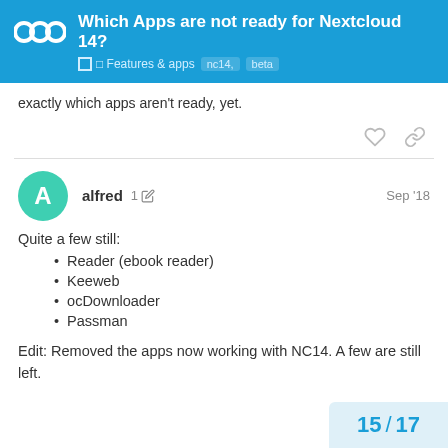Which Apps are not ready for Nextcloud 14? | Features & apps | nc14, beta
exactly which apps aren't ready, yet.
alfred  1 ✎  Sep '18
Quite a few still:
Reader (ebook reader)
Keeweb
ocDownloader
Passman
Edit: Removed the apps now working with NC14. A few are still left.
15 / 17